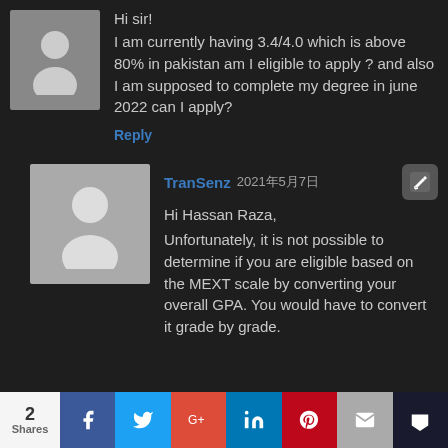Hi sir!
I am currently having 3.4/4.0 which is above 80% in pakistan am I eligible to apply ? and also I am supposed to complete my degree in june 2022 can I apply?
Reply
TranSenz 2021年5月7日
Hi Hassan Raza,
Unfortunately, it is not possible to determine if you are eligible based on the MEXT scale by converting your overall GPA. You would have to convert it grade by grade.
2 Shares